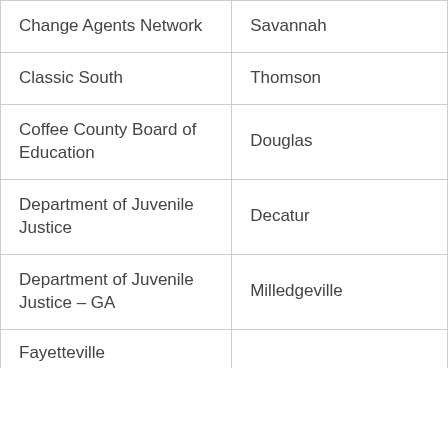| Change Agents Network | Savannah |
| Classic South | Thomson |
| Coffee County Board of Education | Douglas |
| Department of Juvenile Justice | Decatur |
| Department of Juvenile Justice – GA | Milledgeville |
| Fayetteville |  |